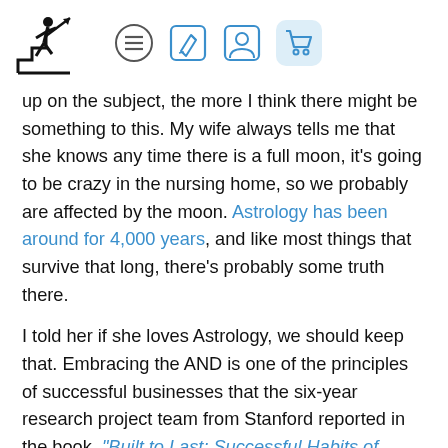[Figure (logo): Running person climbing stairs icon (black silhouette) with navigation icons: hamburger menu circle, edit square, profile square, cart square with light blue background]
up on the subject, the more I think there might be something to this. My wife always tells me that she knows any time there is a full moon, it's going to be crazy in the nursing home, so we probably are affected by the moon. Astrology has been around for 4,000 years, and like most things that survive that long, there's probably some truth there.

I told her if she loves Astrology, we should keep that. Embracing the AND is one of the principles of successful businesses that the six-year research project team from Stanford reported in the book, "Built to Last: Successful Habits of Visionary Companies."